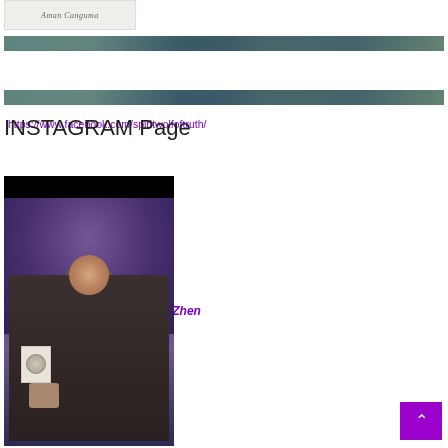[Figure (photo): Logo/signature image in top left corner with cursive text]
[Figure (photo): Decorative banner image with nature/landscape scene]
https://www.facebook.com/spiritwolfoftruth/
[Figure (photo): Second decorative banner image with nature/landscape scene]
INSTAGRAM Page
www.Instagram.com/BuddhaZhen
[Figure (photo): Photo of a bearded man holding a book, standing in front of a decorative tapestry background]
[Figure (other): Back to top button - purple square with upward arrow]